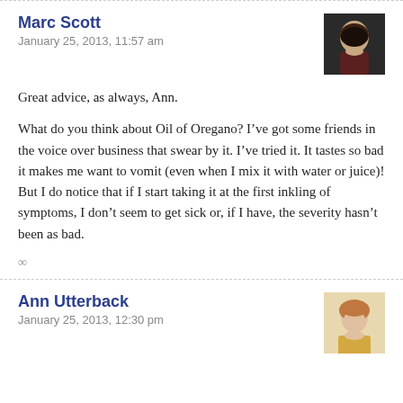Marc Scott
January 25, 2013, 11:57 am
[Figure (photo): Avatar photo of Marc Scott, a man with short hair]
Great advice, as always, Ann.
What do you think about Oil of Oregano? I’ve got some friends in the voice over business that swear by it. I’ve tried it. It tastes so bad it makes me want to vomit (even when I mix it with water or juice)! But I do notice that if I start taking it at the first inkling of symptoms, I don’t seem to get sick or, if I have, the severity hasn’t been as bad.
∞
Ann Utterback
January 25, 2013, 12:30 pm
[Figure (photo): Avatar photo of Ann Utterback, a woman with short blonde/reddish hair]